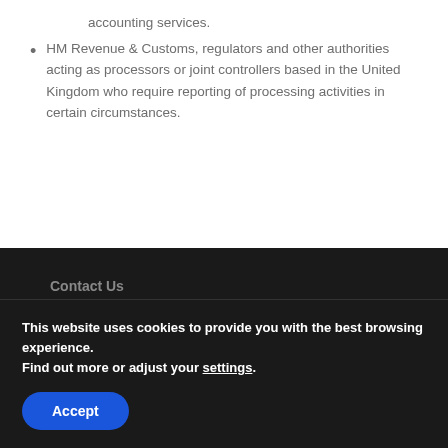accounting services.
HM Revenue & Customs, regulators and other authorities acting as processors or joint controllers based in the United Kingdom who require reporting of processing activities in certain circumstances.
Contact Us
This website uses cookies to provide you with the best browsing experience.
Find out more or adjust your settings.
Accept